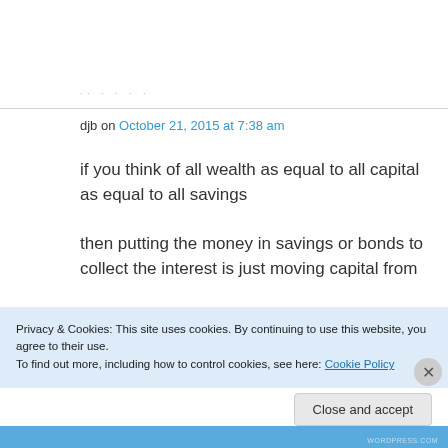· · · · ·
djb on October 21, 2015 at 7:38 am
if you think of all wealth as equal to all capital as equal to all savings

then putting the money in savings or bonds to collect the interest is just moving capital from
Privacy & Cookies: This site uses cookies. By continuing to use this website, you agree to their use.
To find out more, including how to control cookies, see here: Cookie Policy
Close and accept